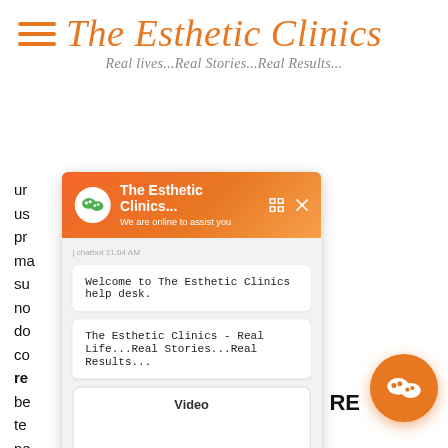The Esthetic Clinics
Real lives...Real Stories...Real Results...
[Figure (screenshot): Chat widget overlay from The Esthetic Clinics website showing a chatbot conversation. Header with orange gradient contains WeChat-style avatar, title 'The Esthetic Clinics...', subtitle 'We are online to assist you', and close/expand icons. Chat body shows timestamp '| chatbot 11:04 AM', two chat bubbles: 'Welcome to The Esthetic Clinics help desk.' and 'The Esthetic Clinics - Real Life...Real Stories...Real Results...', a video placeholder box labeled 'Video', an input field 'Type your message...', an orange send button, and 'Powered by Kenyt.AI' footer. Behind the widget is partially visible article text about eyelid injections.]
ur...injections are us...During the pr...our surgeon ma...on with the su...l to be in a no...ssitates the do...through the co...your eyelid re...attention is be...specialists te...hat may be ne...when the RE